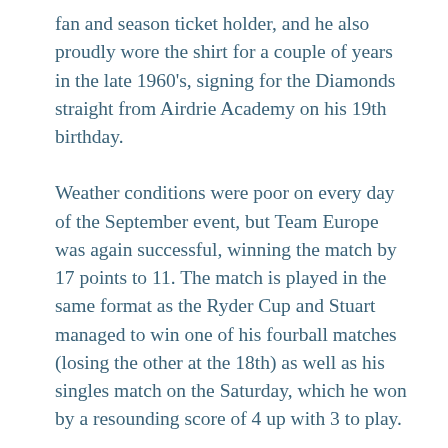fan and season ticket holder, and he also proudly wore the shirt for a couple of years in the late 1960's, signing for the Diamonds straight from Airdrie Academy on his 19th birthday.
Weather conditions were poor on every day of the September event, but Team Europe was again successful, winning the match by 17 points to 11. The match is played in the same format as the Ryder Cup and Stuart managed to win one of his fourball matches (losing the other at the 18th) as well as his singles match on the Saturday, which he won by a resounding score of 4 up with 3 to play.
Stuart and Colin are well travelled since